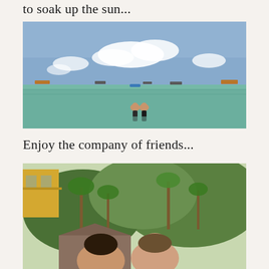to soak up the sun...
[Figure (photo): Two women standing in shallow ocean water, greenish-blue sea, several ships on the horizon, partly cloudy blue sky]
Enjoy the company of friends...
[Figure (photo): Two women outdoors with palm trees and green hills in the background, a yellow building visible on the left]